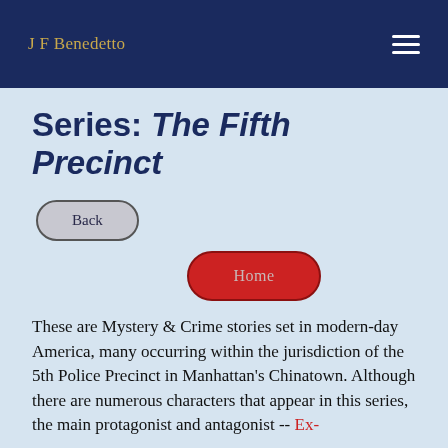J F Benedetto
Series: The Fifth Precinct
Back
Home
These are Mystery & Crime stories set in modern-day America, many occurring within the jurisdiction of the 5th Police Precinct in Manhattan's Chinatown. Although there are numerous characters that appear in this series, the main protagonist and antagonist -- Ex-